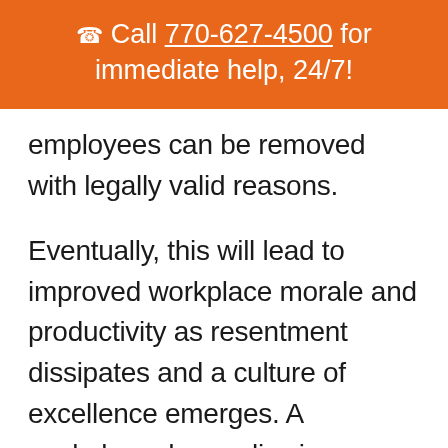☎ Call 770-627-4500 for immediate help, 24/7!
employees can be removed with legally valid reasons.
Eventually, this will lead to improved workplace morale and productivity as resentment dissipates and a culture of excellence emerges. A workplace drug policy is designed to stop drug related problems before they occur. At the time of hire, employees will be